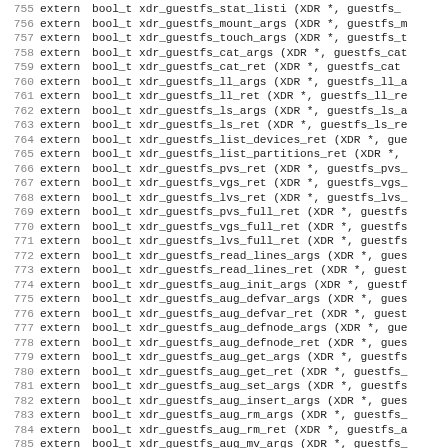Code listing lines 756-787: C extern function declarations for xdr_guestfs functions